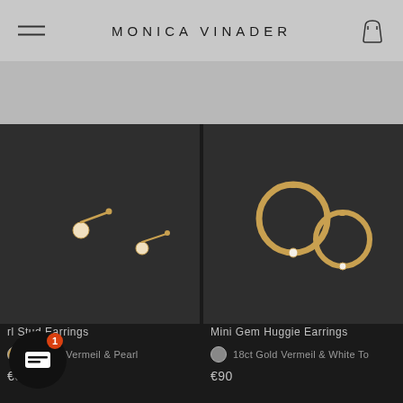MONICA VINADER
MINI GEM
[Figure (photo): Gold pearl stud earrings on dark background]
rl Stud Earrings
ct Gold Vermeil & Pearl
€65
[Figure (photo): Gold huggie hoop earrings with white topaz gems on dark background]
Mini Gem Huggie Earrings
18ct Gold Vermeil & White To
€90